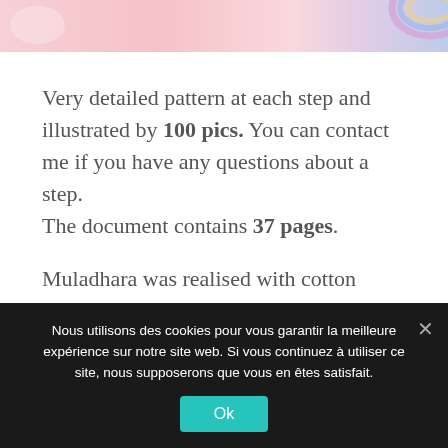[Figure (illustration): Partial top banner image with pink and pastel colors, showing decorative elements including a rainbow arc on the right side]
Very detailed pattern at each step and illustrated by 100 pics. You can contact me if you have any questions about a step.
The document contains 37 pages.
Muladhara was realised with cotton thread size 3 – 3,5 (fingering) and crochet size 2,5 mm and 2 mm. To enlarge it, you can use a thread of another size with a
Nous utilisons des cookies pour vous garantir la meilleure expérience sur notre site web. Si vous continuez à utiliser ce site, nous supposerons que vous en êtes satisfait.
Ok